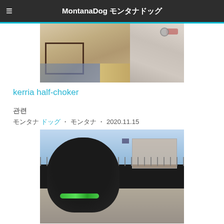MontanaDog モンタナドッグ
[Figure (photo): Top partial photo showing a dog near a floor mat with hardwood floors, partial view of dog collar and leash hardware visible]
kerria half-choker
관련
モンタナ ドッグ ・ モンタナ ・ 2020.11.15
[Figure (photo): Photo of a black pug dog standing outdoors near a waterfront area with blue bollards, metal fence railing, and urban buildings in the background. The pug is wearing a green patterned collar.]